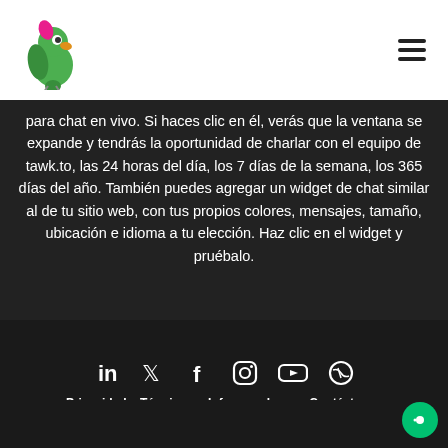tawk.to parrot logo and hamburger menu
para chat en vivo. Si haces clic en él, verás que la ventana se expande y tendrás la oportunidad de charlar con el equipo de tawk.to, las 24 horas del día, los 7 días de la semana, los 365 días del año. También puedes agregar un widget de chat similar al de tu sitio web, con tus propios colores, mensajes, tamaño, ubicación e idioma a tu elección. Haz clic en el widget y pruébalo.
[Figure (illustration): Social media icons: LinkedIn, Twitter, Facebook, Instagram, YouTube, WordPress]
Privacidad y Términos   Informar abuso   Contáctanos